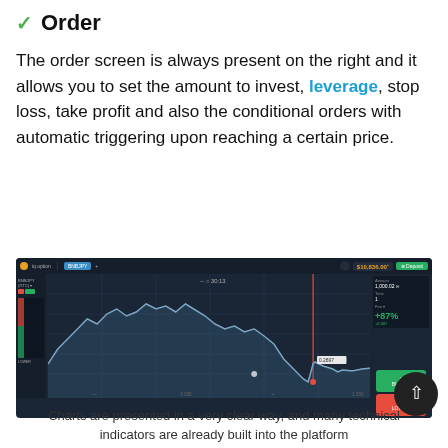✓ Order
The order screen is always present on the right and it allows you to set the amount to invest, leverage, stop loss, take profit and also the conditional orders with automatic triggering upon reaching a certain price.
[Figure (screenshot): Screenshot of IQ Option trading platform showing a candlestick/area chart of BNBJPY (OTC) with a downward trend, red vertical line, green Buy and red Sell buttons on the right panel, and account balance showing $10,836.00]
Charts are presented in a very clear way, and many technical indicators are already built into the platform